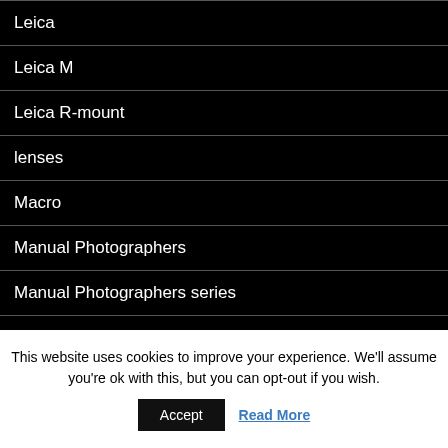Leica
Leica M
Leica R-mount
lenses
Macro
Manual Photographers
Manual Photographers series
Manufacturers
Meta
This website uses cookies to improve your experience. We'll assume you're ok with this, but you can opt-out if you wish.
Accept
Read More